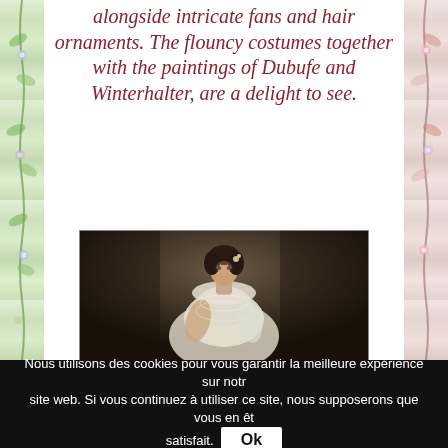alongside intricate fans and hair ornaments. The flouncy costumes together with the paintings of Dubufe and Winterhalter, are a delight to see.
[Figure (photo): Portrait painting of a young woman (likely Queen Victoria era), wearing a white lace off-shoulder dress with hair ornaments, painted in a classical style against a dark background.]
Nous utilisons des cookies pour vous garantir la meilleure expérience sur notre site web. Si vous continuez à utiliser ce site, nous supposerons que vous en êtes satisfait. Ok